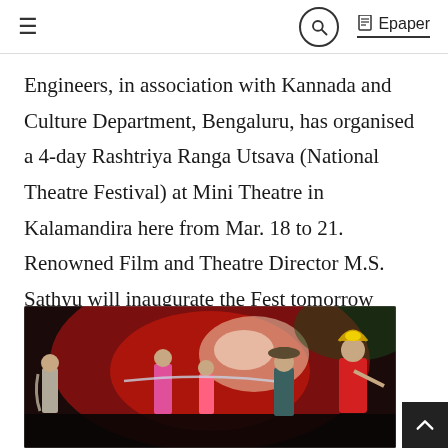≡  [search icon]  📄 Epaper
Engineers, in association with Kannada and Culture Department, Bengaluru, has organised a 4-day Rashtriya Ranga Utsava (National Theatre Festival) at Mini Theatre in Kalamandira here from Mar. 18 to 21. Renowned Film and Theatre Director M.S. Sathyu will inaugurate the Fest tomorrow (Mar. 18) at 6.30 pm. Rangayana Mysuru Director...
[Figure (photo): Theatre performance on stage with red background lighting. Several performers in traditional and colorful Indian costumes on stage, including a dancer in elaborate classical dance attire on the right.]